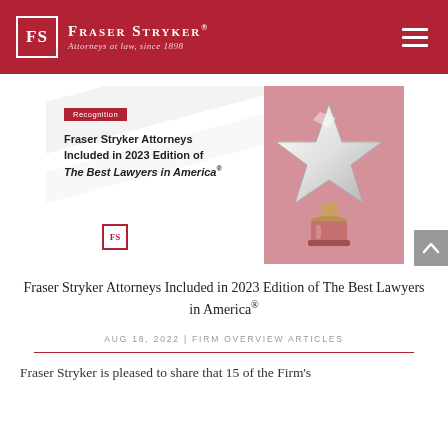Fraser Stryker® — Attorneys at law, since 1898
[Figure (illustration): Promotional banner image showing text 'Fraser Stryker Attorneys Included in 2023 Edition of The Best Lawyers in America®' with a star trophy award on a pink/rose background, a red 'Recognition' badge, and the Fraser Stryker FS logo.]
Fraser Stryker Attorneys Included in 2023 Edition of The Best Lawyers in America®
AUG 18, 2022 | FIRM OVERVIEW ARTICLES
Fraser Stryker is pleased to share that 15 of the Firm's